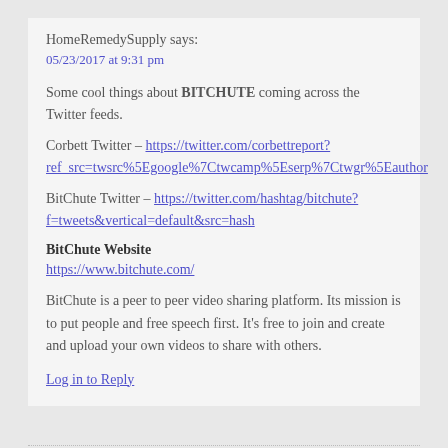HomeRemedySupply says:
05/23/2017 at 9:31 pm
Some cool things about BITCHUTE coming across the Twitter feeds.
Corbett Twitter – https://twitter.com/corbettreport?ref_src=twsrc%5Egoogle%7Ctwcamp%5Eserp%7Ctwgr%5Eauthor
BitChute Twitter – https://twitter.com/hashtag/bitchute?f=tweets&vertical=default&src=hash
BitChute Website
https://www.bitchute.com/
BitChute is a peer to peer video sharing platform. Its mission is to put people and free speech first. It's free to join and create and upload your own videos to share with others.
Log in to Reply